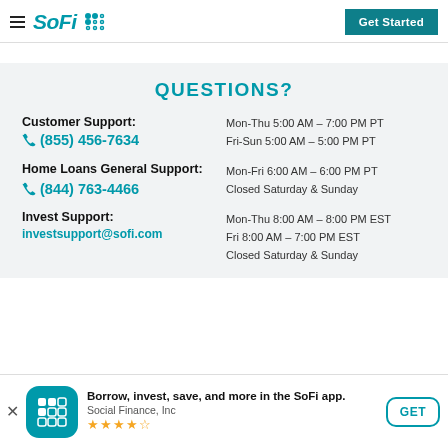SoFi — Get Started
QUESTIONS?
Customer Support:
☎ (855) 456-7634
Mon-Thu 5:00 AM – 7:00 PM PT
Fri-Sun 5:00 AM – 5:00 PM PT
Home Loans General Support:
☎ (844) 763-4466
Mon-Fri 6:00 AM – 6:00 PM PT
Closed Saturday & Sunday
Invest Support:
investsupport@sofi.com
Mon-Thu 8:00 AM – 8:00 PM EST
Fri 8:00 AM – 7:00 PM EST
Closed Saturday & Sunday
Borrow, invest, save, and more in the SoFi app.
Social Finance, Inc
★★★★½